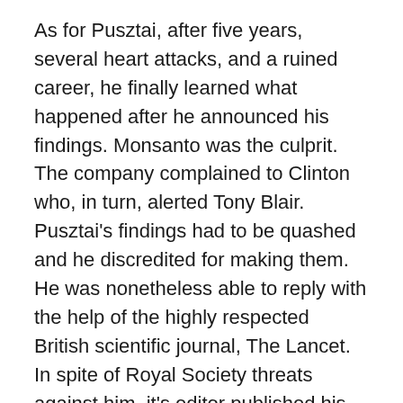As for Pusztai, after five years, several heart attacks, and a ruined career, he finally learned what happened after he announced his findings. Monsanto was the culprit. The company complained to Clinton who, in turn, alerted Tony Blair. Pusztai's findings had to be quashed and he discredited for making them. He was nonetheless able to reply with the help of the highly respected British scientific journal, The Lancet. In spite of Royal Society threats against him, it's editor published his article, but at a cost. After publication, the Society and biotech industry attacked The Lancet for its action. It was a further shameless act.
As a footnote, Pusztai now lectures around the world on his GMO research and is a consultant to start-up groups researching the health effects of these foods. Along with him and his wife, his co-author, Professor Stanley Ewen, also suffered. He lost his position at the University of